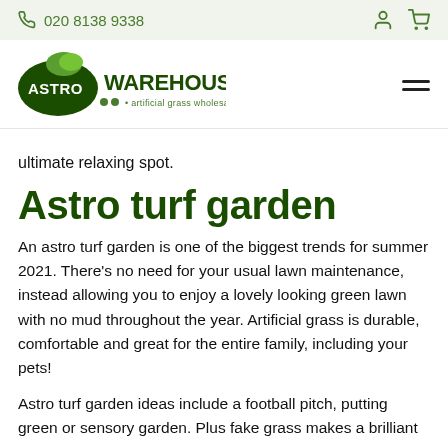020 8138 9338
[Figure (logo): Astro Warehouse artificial grass wholesaler logo — dark green oval with white ASTRO text, green WAREHOUSE text, tagline 'artificial grass wholesaler']
ultimate relaxing spot.
Astro turf garden
An astro turf garden is one of the biggest trends for summer 2021. There's no need for your usual lawn maintenance, instead allowing you to enjoy a lovely looking green lawn with no mud throughout the year. Artificial grass is durable, comfortable and great for the entire family, including your pets!
Astro turf garden ideas include a football pitch, putting green or sensory garden. Plus fake grass makes a brilliant